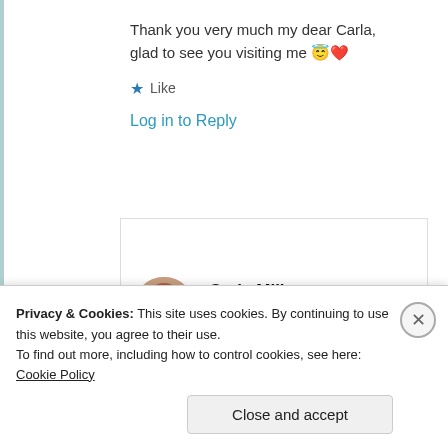Thank you very much my dear Carla, glad to see you visiting me 😇❤️
★ Like
Log in to Reply
Carla Milho
26th Jun 2021 at
8:07 pm
Privacy & Cookies: This site uses cookies. By continuing to use this website, you agree to their use.
To find out more, including how to control cookies, see here: Cookie Policy
Close and accept